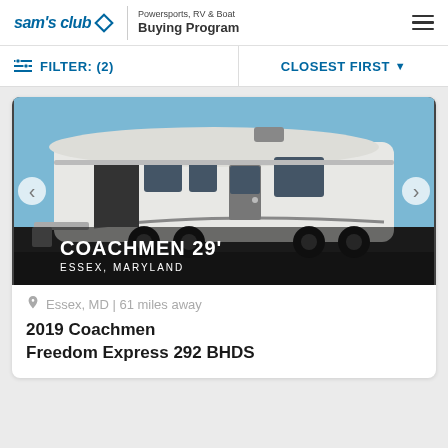sam's club — Powersports, RV & Boat Buying Program
FILTER: (2)   CLOSEST FIRST
[Figure (photo): Photo of a white Coachmen 29-foot travel trailer RV parked outdoors under a blue sky. Overlay text reads: COACHMEN 29' / ESSEX, MARYLAND]
Essex, MD | 61 miles away
2019 Coachmen Freedom Express 292 BHDS